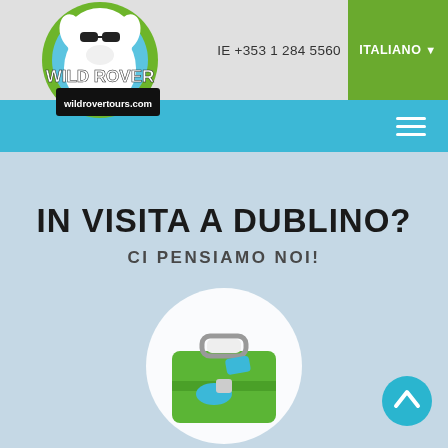[Figure (logo): Wild Rover Tours logo with cartoon dog and wildrovertours.com text]
IE +353 1 284 5560
ITALIANO ▼
[Figure (other): Hamburger menu icon (three white lines)]
IN VISITA A DUBLINO?
CI PENSIAMO NOI!
[Figure (illustration): White circle with green suitcase icon with blue stickers]
[Figure (other): Teal scroll-up arrow button]